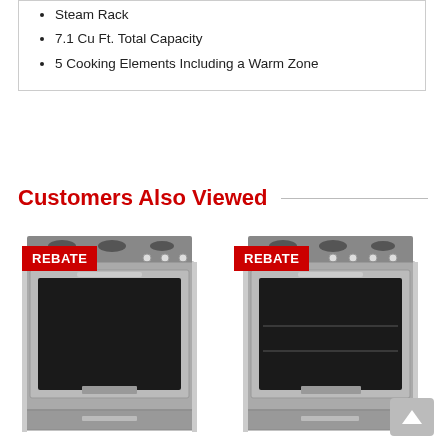Steam Rack
7.1 Cu Ft. Total Capacity
5 Cooking Elements Including a Warm Zone
Customers Also Viewed
[Figure (photo): Stainless steel slide-in electric range with REBATE badge]
[Figure (photo): Stainless steel slide-in electric range with REBATE badge]